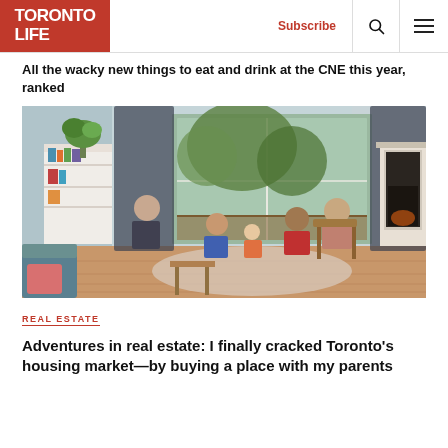TORONTO LIFE | Subscribe | [search] [menu]
All the wacky new things to eat and drink at the CNE this year, ranked
[Figure (photo): A family gathered in a bright living room with wood floors, a fireplace, large windows, a bookshelf, and plants. Adults and young children are sitting together on the floor and chairs.]
REAL ESTATE
Adventures in real estate: I finally cracked Toronto's housing market—by buying a place with my parents